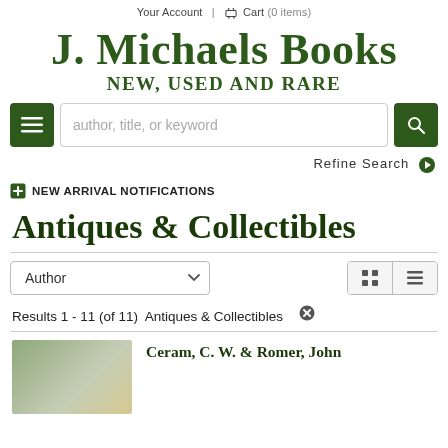Your Account  |  Cart (0 items)
J. Michaels Books
New, Used and Rare
[Figure (screenshot): Search bar with hamburger menu button on left, text input with placeholder 'author, title, or keyword', and green search button on right]
Refine Search ▶
+ NEW ARRIVAL NOTIFICATIONS
Antiques & Collectibles
Author (dropdown sort selector)
Results 1 - 11 (of 11)  Antiques & Collectibles ✕
Ceram, C. W. & Romer, John